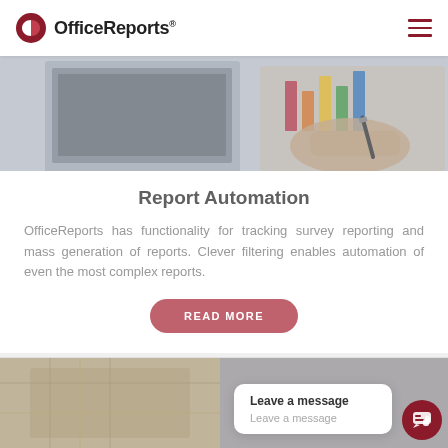OfficeReports®
[Figure (photo): Person holding a bar chart report, reviewing data at a desk with a laptop in the background]
Report Automation
OfficeReports has functionality for tracking survey reporting and mass generation of reports. Clever filtering enables automation of even the most complex reports.
READ MORE
[Figure (photo): Person working, partially visible, lower section of page]
Leave a message
Leave a message